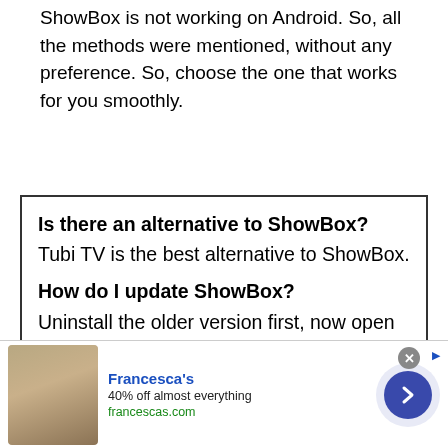ShowBox is not working on Android. So, all the methods were mentioned, without any preference. So, choose the one that works for you smoothly.
Is there an alternative to ShowBox?
Tubi TV is the best alternative to ShowBox.
How do I update ShowBox?
Uninstall the older version first, now open Google Chrome and search Download ShowBox. After that go to the official
[Figure (other): Advertisement banner for Francesca's: '40% off almost everything', francescas.com, with a photo of a woman and a blue arrow button]